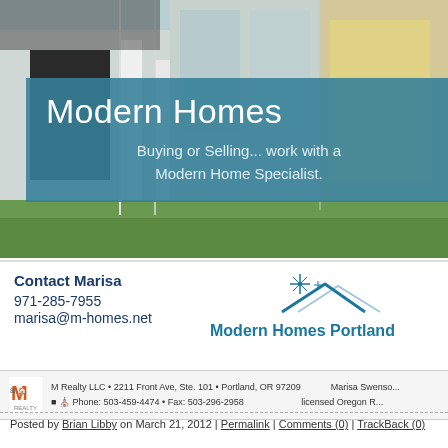[Figure (photo): Modern home exterior with glass walls and green lawn — banner photo]
Modern Homes
Buying or Selling... work with a Modern Home Specialist.
Contact Marisa
971-285-7955
marisa@m-homes.net
[Figure (logo): Modern Homes Portland logo with house roofline and sparkle icon]
M Realty LLC • 2211 Front Ave, Ste. 101 • Portland, OR 97209   Phone: 503-459-4474 • Fax: 503-296-2958   Marisa Swenso...   licensed Oregon R...
Posted by Brian Libby on March 21, 2012 | Permalink | Comments (0) | TrackBack (0)